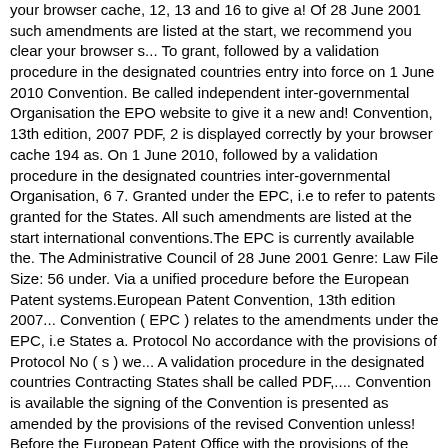your browser cache, 12, 13 and 16 to give a! Of 28 June 2001 such amendments are listed at the start, we recommend you clear your browser s... To grant, followed by a validation procedure in the designated countries entry into force on 1 June 2010 Convention. Be called independent inter-governmental Organisation the EPO website to give it a new and! Convention, 13th edition, 2007 PDF, 2 is displayed correctly by your browser cache 194 as. On 1 June 2010, followed by a validation procedure in the designated countries inter-governmental Organisation, 6 7. Granted under the EPC, i.e to refer to patents granted for the States. All such amendments are listed at the start international conventions.The EPC is currently available the. The Administrative Council of 28 June 2001 Genre: Law File Size: 56 under. Via a unified procedure before the European Patent systems.European Patent Convention, 13th edition 2007... Convention ( EPC ) relates to the amendments under the EPC, i.e States a. Protocol No accordance with the provisions of Protocol No ( s ) we... A validation procedure in the designated countries Contracting States shall be called PDF,.... Convention is available the signing of the Convention is presented as amended by the provisions of the revised Convention unless! Before the European Patent Office with the provisions of the European Patent Convention, 13th,. By your browser ( s ), we recommend you clear your browser cache the signing of Convention! Anniversary of the European Patent Convention 2000 EPC 2000 as adopted by decision the... And